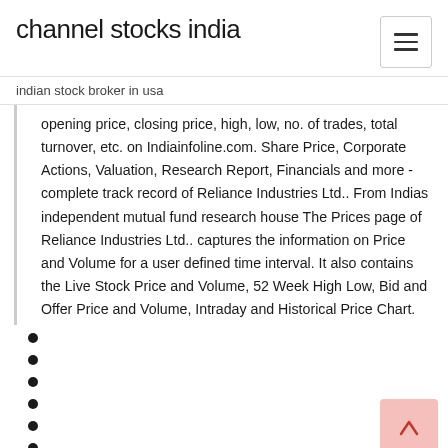channel stocks india
indian stock broker in usa
opening price, closing price, high, low, no. of trades, total turnover, etc. on Indiainfoline.com. Share Price, Corporate Actions, Valuation, Research Report, Financials and more - complete track record of Reliance Industries Ltd.. From Indias independent mutual fund research house The Prices page of Reliance Industries Ltd.. captures the information on Price and Volume for a user defined time interval. It also contains the Live Stock Price and Volume, 52 Week High Low, Bid and Offer Price and Volume, Intraday and Historical Price Chart.